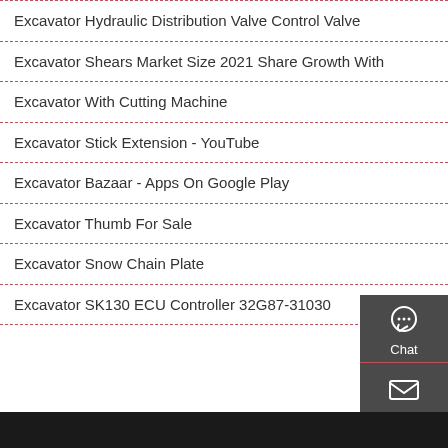Excavator Hydraulic Distribution Valve Control Valve
Excavator Shears Market Size 2021 Share Growth With
Excavator With Cutting Machine
Excavator Stick Extension - YouTube
Excavator Bazaar - Apps On Google Play
Excavator Thumb For Sale
Excavator Snow Chain Plate
Excavator SK130 ECU Controller 32G87-31030